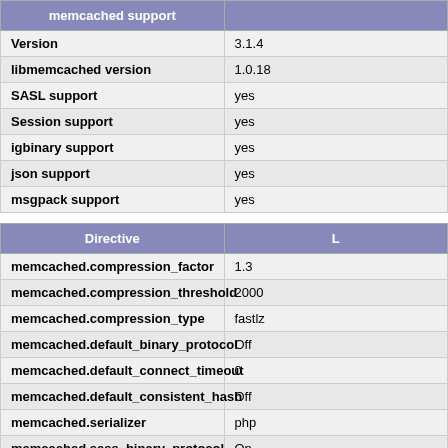| memcached support |  |
| --- | --- |
| Version | 3.1.4 |
| libmemcached version | 1.0.18 |
| SASL support | yes |
| Session support | yes |
| igbinary support | yes |
| json support | yes |
| msgpack support | yes |
| Directive | L |
| --- | --- |
| memcached.compression_factor | 1.3 |
| memcached.compression_threshold | 2000 |
| memcached.compression_type | fastlz |
| memcached.default_binary_protocol | Off |
| memcached.default_connect_timeout | 0 |
| memcached.default_consistent_hash | Off |
| memcached.serializer | php |
| memcached.sess_binary_protocol | On |
| memcached.sess_connect_timeout | 0 |
| memcached.sess_consistent_hash | On |